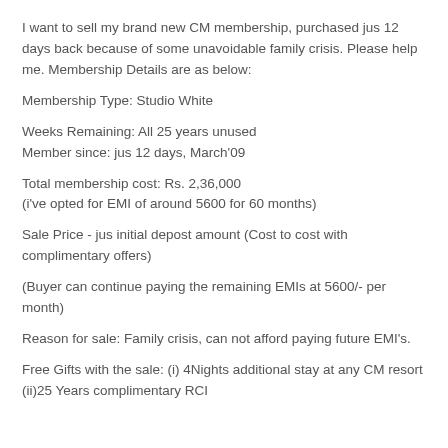I want to sell my brand new CM membership, purchased jus 12 days back because of some unavoidable family crisis. Please help me. Membership Details are as below:
Membership Type: Studio White
Weeks Remaining: All 25 years unused
Member since: jus 12 days, March'09
Total membership cost: Rs. 2,36,000
(i've opted for EMI of around 5600 for 60 months)
Sale Price - jus initial depost amount (Cost to cost with complimentary offers)
(Buyer can continue paying the remaining EMIs at 5600/- per month)
Reason for sale: Family crisis, can not afford paying future EMI's.
Free Gifts with the sale: (i) 4Nights additional stay at any CM resort (ii)25 Years complimentary RCI